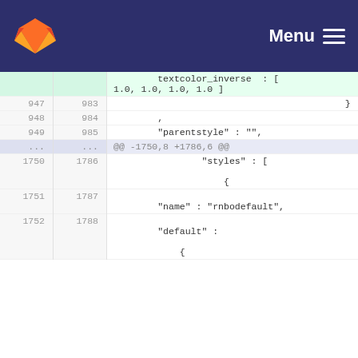GitLab | Menu
[Figure (screenshot): GitLab code diff view showing JSON file changes with line numbers. Lines 947-949 and 983-985 show context lines including closing brace, comma, and blank line, plus 'parentstyle': ''. A diff hunk marker shows @@ -1750,8 +1786,6 @@. Lines 1750-1752 and 1786-1788 show 'styles': [ { and 'name': 'rnbodefault', and 'default':]